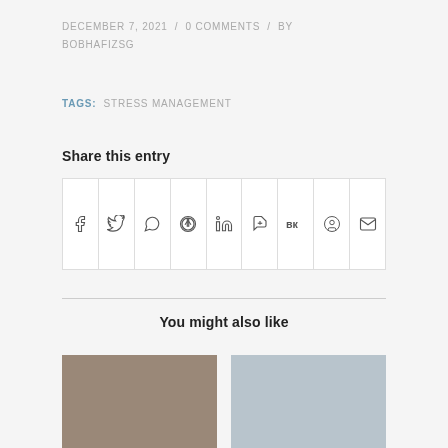DECEMBER 7, 2021 / 0 COMMENTS / BY BOBHAFIZSG
TAGS: STRESS MANAGEMENT
Share this entry
[Figure (other): Social share icon buttons: Facebook, Twitter, WhatsApp, Pinterest, LinkedIn, Tumblr, VK, Reddit, Email]
You might also like
[Figure (photo): Two thumbnail images side by side - left shows a woman, right shows a man]